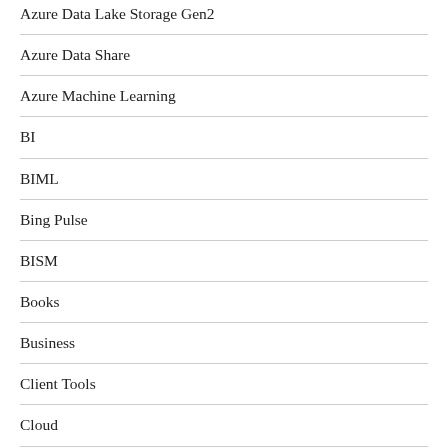Azure Data Lake Storage Gen2
Azure Data Share
Azure Machine Learning
BI
BIML
Bing Pulse
BISM
Books
Business
Client Tools
Cloud
Common Data Model
Common Data Service
Cube Formulas
Custom Data Connectors